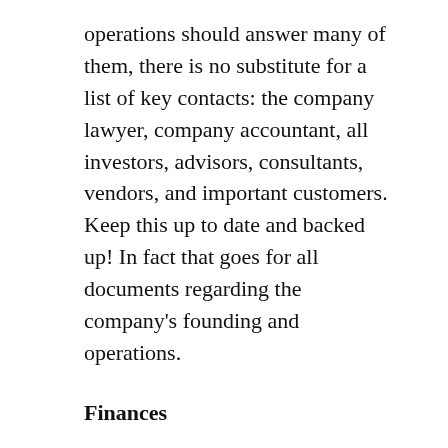operations should answer many of them, there is no substitute for a list of key contacts: the company lawyer, company accountant, all investors, advisors, consultants, vendors, and important customers. Keep this up to date and backed up! In fact that goes for all documents regarding the company's founding and operations.
Finances
I hope you are keeping track of your finances with a program like Quicken.  The most important thing your colleagues need to know is Cash On Hand, the actual amount of money in your bank account and petty cash, if any. But